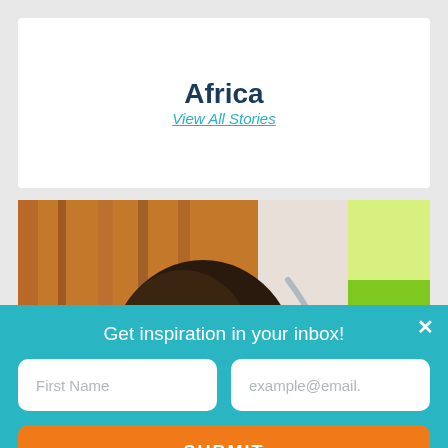Africa
View All Stories
[Figure (photo): Close-up photo of a young African child peeking over something, with a wooden background and green fabric visible]
Get inspiration in your inbox!
First Name
example@email.
SUBMIT